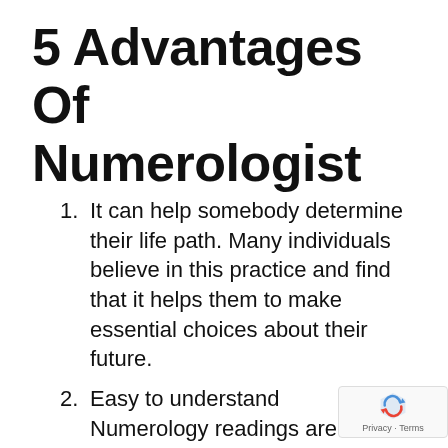5 Advantages Of Numerologist
It can help somebody determine their life path. Many individuals believe in this practice and find that it helps them to make essential choices about their future.
Easy to understand
Numerology readings are also easy to understand, although there is no scientific proof for this practice. While some individuals see numbers as a way to glimpse into the future, numerology can also be used as a method to better comprehend yourself.